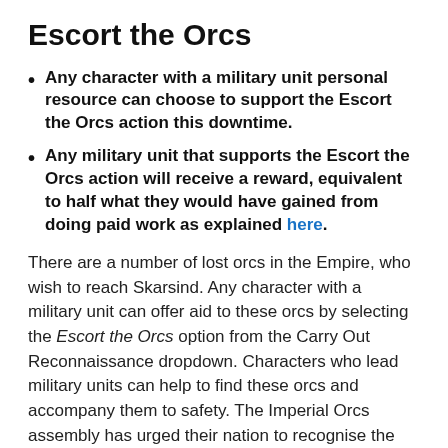Escort the Orcs
Any character with a military unit personal resource can choose to support the Escort the Orcs action this downtime.
Any military unit that supports the Escort the Orcs action will receive a reward, equivalent to half what they would have gained from doing paid work as explained here.
There are a number of lost orcs in the Empire, who wish to reach Skarsind. Any character with a military unit can offer aid to these orcs by selecting the Escort the Orcs option from the Carry Out Reconnaissance dropdown. Characters who lead military units can help to find these orcs and accompany them to safety. The Imperial Orcs assembly has urged their nation to recognise the hard work of their allies and offer rewards.
You can learn more about this opportunity here